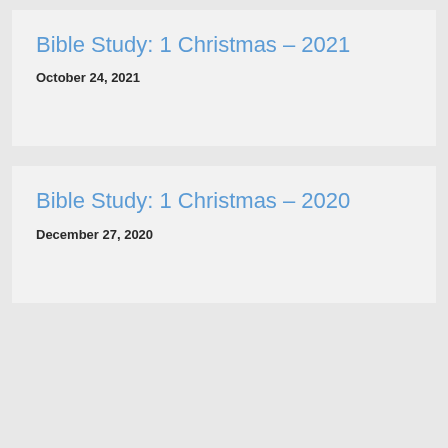Bible Study: 1 Christmas – 2021
October 24, 2021
Bible Study: 1 Christmas – 2020
December 27, 2020